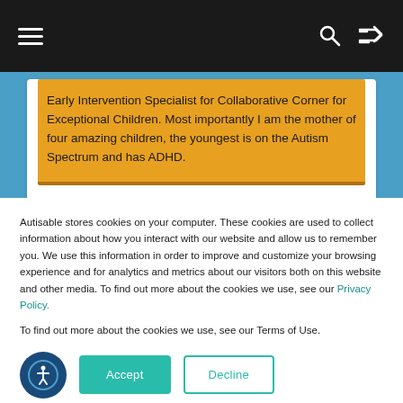[Figure (screenshot): Dark navigation bar with hamburger menu icon on left, search icon and shuffle icon on right]
Early Intervention Specialist for Collaborative Corner for Exceptional Children. Most importantly I am the mother of four amazing children, the youngest is on the Autism Spectrum and has ADHD.
Autisable stores cookies on your computer. These cookies are used to collect information about how you interact with our website and allow us to remember you. We use this information in order to improve and customize your browsing experience and for analytics and metrics about our visitors both on this website and other media. To find out more about the cookies we use, see our Privacy Policy.
To find out more about the cookies we use, see our Terms of Use.